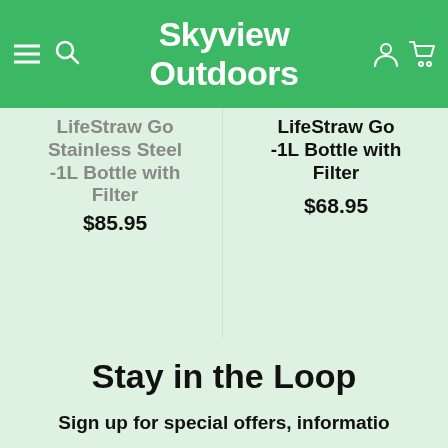Skyview Outdoors
LifeStraw Go Stainless Steel -1L Bottle with Filter
$85.95
LifeStraw Go -1L Bottle with Filter
$68.95
Stay in the Loop
Sign up for special offers, informatio